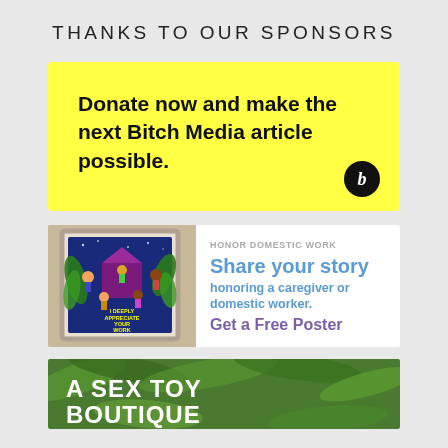THANKS TO OUR SPONSORS
[Figure (infographic): Yellow rectangle ad: 'Donate now and make the next Bitch Media article possible.' with small black circle logo with letter b in bottom right.]
[Figure (infographic): Honor Domestic Work ad. Left: image of colorful framed poster saying 'I DEEPLY APPRECIATE YOUR WORK' with illustrated children. Right: text 'HONOR DOMESTIC WORK / Share your story / honoring a caregiver or domestic worker. / Get a Free Poster']
[Figure (infographic): Green background ad partially visible at bottom: 'A SEX TOY BOUTIQUE' in large white text over green leafy background.]